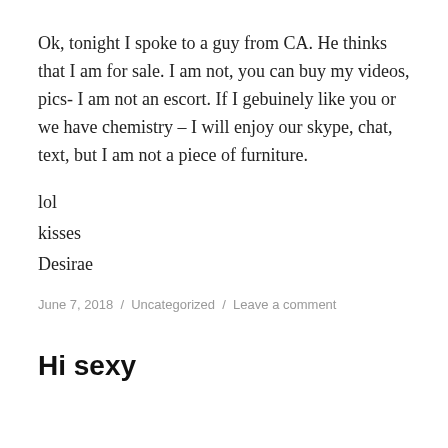Ok, tonight I spoke to a guy from CA. He thinks that I am for sale. I am not, you can buy my videos, pics- I am not an escort. If I gebuinely like you or we have chemistry – I will enjoy our skype, chat, text, but I am not a piece of furniture.
lol
kisses
Desirae
June 7, 2018 / Uncategorized / Leave a comment
Hi sexy